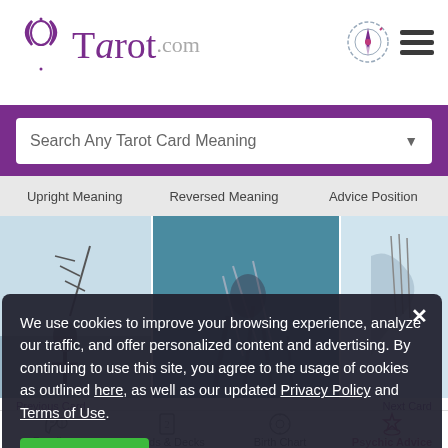Tarot.com
Search Any Tarot Card Meaning
Upright Meaning | Reversed Meaning | Advice Position
[Figure (photo): Three tarot card images side by side: left shows seven of swords card upright, center shows reversed seven of swords card, right shows advice position card]
Previous Card
Six of Swords
Next Card
Eight of Swords
seven of swords
We use cookies to improve your browsing experience, analyze our traffic, and offer personalized content and advertising. By continuing to use this site, you agree to the usage of cookies as outlined here, as well as our updated Privacy Policy and Terms of Use.
I Accept
Readings | Cards & Decks | Birth Chart | Psychic Advice